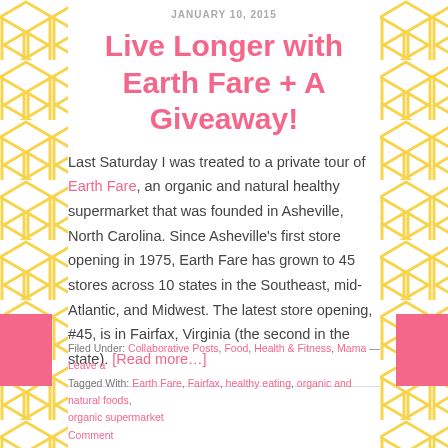JANUARY 10, 2015
Live Longer with Earth Fare + A Giveaway!
Last Saturday I was treated to a private tour of Earth Fare, an organic and natural healthy supermarket that was founded in Asheville, North Carolina. Since Asheville's first store opening in 1975, Earth Fare has grown to 45 stores across 10 states in the Southeast, mid-Atlantic, and Midwest. The latest store opening, #45, is in Fairfax, Virginia (the second in the state). [Read more…]
Filed Under: Collaborative Posts, Food, Health & Fitness, Mama — Leave a Comment
Tagged With: Earth Fare, Fairfax, healthy eating, organic and natural foods, organic supermarket